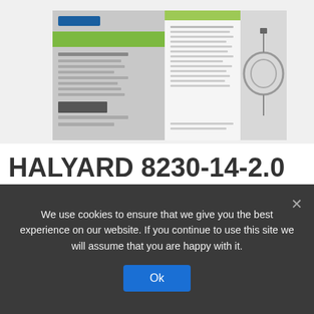[Figure (photo): Product photo of HALYARD Mic-Key Jejunal Feeding Tube Kit packaging, showing the box front with green label and product tube coiled in plastic packaging]
HALYARD 8230-14-2.0 Mic-Key Jejunal Feeding Tube Kit, 2.0cm (X)
We use cookies to ensure that we give you the best experience on our website. If you continue to use this site we will assume that you are happy with it.